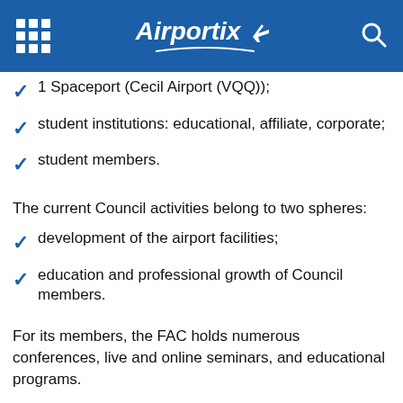Airportix
1 Spaceport (Cecil Airport (VQQ));
student institutions: educational, affiliate, corporate;
student members.
The current Council activities belong to two spheres:
development of the airport facilities;
education and professional growth of Council members.
For its members, the FAC holds numerous conferences, live and online seminars, and educational programs.
Florida Beaches near Airports